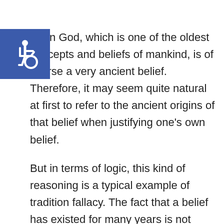[Figure (logo): Blue square with white wheelchair accessibility icon (ISA symbol)]
lief in God, which is one of the oldest concepts and beliefs of mankind, is of course a very ancient belief. Therefore, it may seem quite natural at first to refer to the ancient origins of that belief when justifying one's own belief.
But in terms of logic, this kind of reasoning is a typical example of tradition fallacy. The fact that a belief has existed for many years is not proof that it is true.